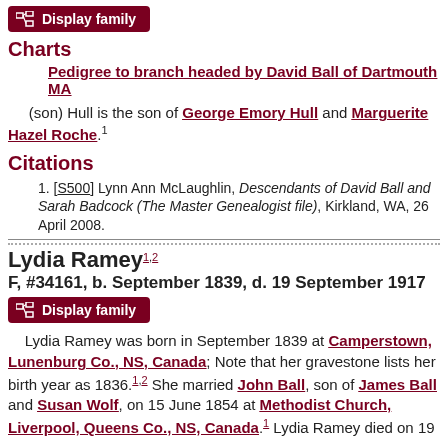[Figure (other): Display family button (dark red)]
Charts
Pedigree to branch headed by David Ball of Dartmouth MA
(son) Hull is the son of George Emory Hull and Marguerite Hazel Roche.1
Citations
1. [S500] Lynn Ann McLaughlin, Descendants of David Ball and Sarah Badcock (The Master Genealogist file), Kirkland, WA, 26 April 2008.
Lydia Ramey 1,2
F, #34161, b. September 1839, d. 19 September 1917
[Figure (other): Display family button (dark red)]
Lydia Ramey was born in September 1839 at Camperstown, Lunenburg Co., NS, Canada; Note that her gravestone lists her birth year as 1836.1,2 She married John Ball, son of James Ball and Susan Wolf, on 15 June 1854 at Methodist Church, Liverpool, Queens Co., NS, Canada.1 Lydia Ramey died on 19